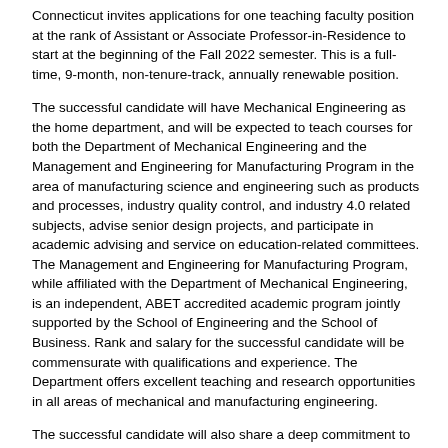Connecticut invites applications for one teaching faculty position at the rank of Assistant or Associate Professor-in-Residence to start at the beginning of the Fall 2022 semester. This is a full-time, 9-month, non-tenure-track, annually renewable position.
The successful candidate will have Mechanical Engineering as the home department, and will be expected to teach courses for both the Department of Mechanical Engineering and the Management and Engineering for Manufacturing Program in the area of manufacturing science and engineering such as products and processes, industry quality control, and industry 4.0 related subjects, advise senior design projects, and participate in academic advising and service on education-related committees. The Management and Engineering for Manufacturing Program, while affiliated with the Department of Mechanical Engineering, is an independent, ABET accredited academic program jointly supported by the School of Engineering and the School of Business. Rank and salary for the successful candidate will be commensurate with qualifications and experience. The Department offers excellent teaching and research opportunities in all areas of mechanical and manufacturing engineering.
The successful candidate will also share a deep commitment to effective instruction at the undergraduate and graduate levels, development of innovative courses and mentoring of students in research, outreach, and professional development.  Successful candidates will also be expected to broaden participation among underrepresented groups; demonstrate the richness of diversity in the learning experience through their teaching, and/or public engagement; integrate multicultural experiences into instructional